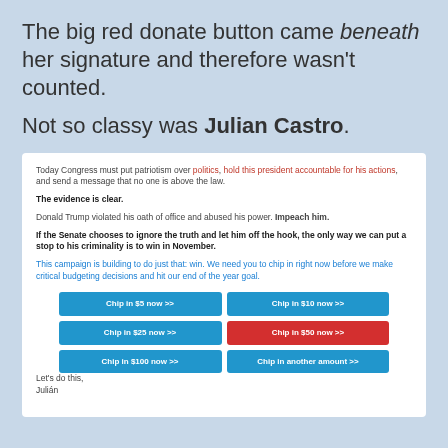The big red donate button came beneath her signature and therefore wasn't counted.
Not so classy was Julian Castro.
Today Congress must put patriotism over politics, hold this president accountable for his actions, and send a message that no one is above the law.
The evidence is clear.
Donald Trump violated his oath of office and abused his power. Impeach him.
If the Senate chooses to ignore the truth and let him off the hook, the only way we can put a stop to his criminality is to win in November.
This campaign is building to do just that: win. We need you to chip in right now before we make critical budgeting decisions and hit our end of the year goal.
Chip in $5 now >>
Chip in $10 now >>
Chip in $25 now >>
Chip in $50 now >>
Chip in $100 now >>
Chip in another amount >>
Let's do this,
Julián